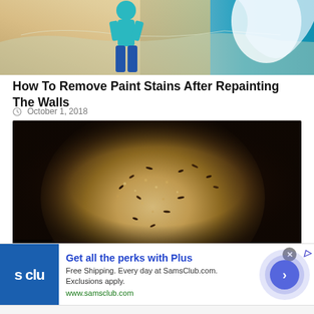[Figure (photo): Person in teal top and jeans standing on plastic-covered floor while painting a wall blue]
How To Remove Paint Stains After Repainting The Walls
October 1, 2018
[Figure (photo): Close-up macro photograph of small dark insects (weevils or grain bugs) on a grainy beige/tan surface, viewed through a circular vignette]
infolinks
[Figure (other): Advertisement: Sam's Club - Get all the perks with Plus. Free Shipping. Every day at SamsClub.com. Exclusions apply. www.samsclub.com]